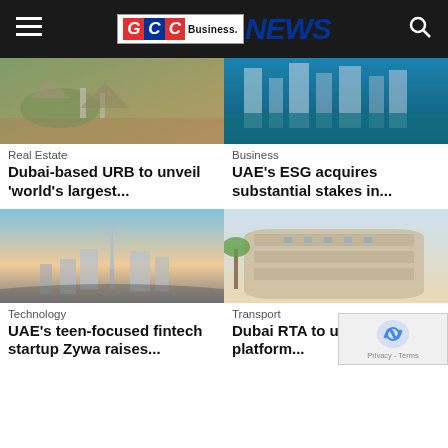GCC Business NEWS
[Figure (photo): Outdoor park scene with people walking on stone steps and landscaped terrain]
Real Estate
Dubai-based URB to unveil 'world's largest...
[Figure (photo): Aerial view of Dubai Marina with skyscrapers and waterway]
Business
UAE's ESG acquires substantial stakes in...
[Figure (photo): Dubai skyline with Burj Khalifa and highway at dusk]
Technology
UAE's teen-focused fintech startup Zywa raises...
[Figure (photo): Modern curved building facade with palm trees]
Transport
Dubai RTA to unveil digital platform...